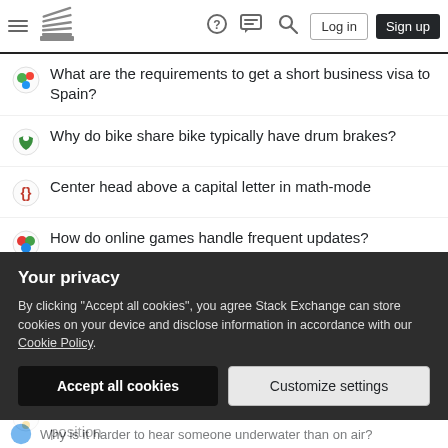Stack Exchange navigation bar with hamburger menu, logo, help, chat, search icons, Log in and Sign up buttons
What are the requirements to get a short business visa to Spain?
Why do bike share bike typically have drum brakes?
Center head above a capital letter in math-mode
How do online games handle frequent updates?
Is it confusing to say "I pay him 20 dollars to buy the T-shirt"?
Why don't open source licenses give a more specific definition of "derivative works" to reduce ambiguity?
The least amount a steps a chess piece can reach a position
How can I efficiently diff a CSV file against a database?
Index seek to specific multi-column key, then get some rows in
Your privacy
By clicking "Accept all cookies", you agree Stack Exchange can store cookies on your device and disclose information in accordance with our Cookie Policy.
Accept all cookies   Customize settings
Why is it harder to hear someone underwater than on air?